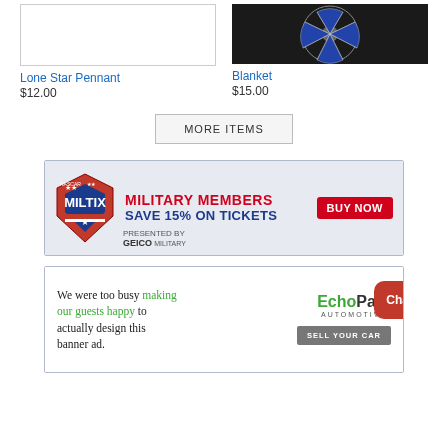Lone Star Pennant
$12.00
Blanket
$15.00
MORE ITEMS
[Figure (photo): NASCAR MILTIX Military Members Save 15% on Tickets - BUY NOW, presented by GEICO Military]
[Figure (infographic): EchoPark Automotive ad: We were too busy making our guests happy to actually design this banner ad. SELL YOUR CAR. Chat button.]